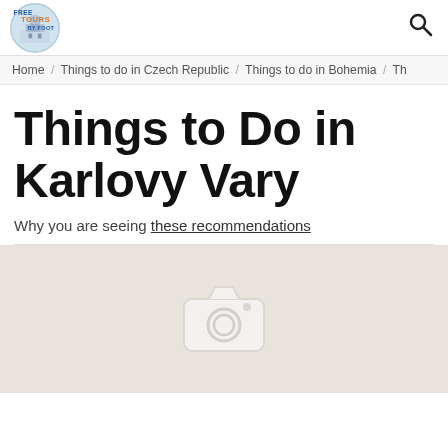Free Tours by Foot
Home / Things to do in Czech Republic / Things to do in Bohemia / Th
Things to Do in Karlovy Vary
Why you are seeing these recommendations
[Figure (map): Map placeholder with camera icon on beige/tan background]